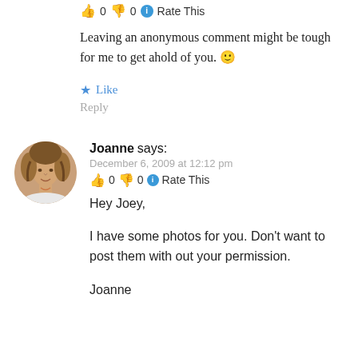👍 0 👎 0 ℹ Rate This
Leaving an anonymous comment might be tough for me to get ahold of you. 🙂
★ Like
Reply
[Figure (photo): Circular avatar photo of a woman with curly blonde/brown hair]
Joanne says:
December 6, 2009 at 12:12 pm
👍 0 👎 0 ℹ Rate This
Hey Joey,
I have some photos for you. Don't want to post them with out your permission.
Joanne